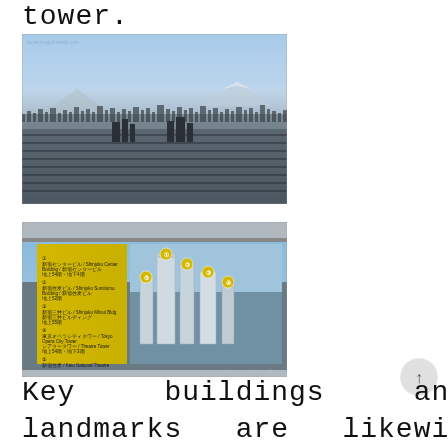tower.
[Figure (photo): Aerial panoramic view of Tokyo cityscape from a tall observation tower, showing a dense urban sprawl extending to the horizon with mountains (including Mt. Fuji) faintly visible in the hazy background under a blue sky. A watermark is visible in the upper left corner.]
[Figure (photo): Close-up of an informational display panel at an observation deck, showing a yellow panel on the left with numbered Japanese and English text listing key buildings, and on the right a stylized illustration of tall skyscrapers (Tokyo Metropolitan Government Building area) with numbered markers, set against a real aerial city view visible through a window behind the panel. A watermark appears in the lower right corner.]
Key buildings and landmarks are likewise
[Figure (illustration): Scroll-to-top circular button with an upward arrow icon]